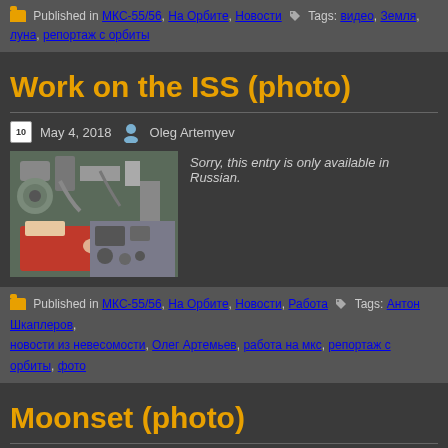Published in МКС-55/56, На Орбите, Новости  Tags: видео, Земля, луна, репортаж с орбиты
Work on the ISS (photo)
May 4, 2018  Oleg Artemyev
[Figure (photo): Photo of ISS work - person in red working on equipment]
Sorry, this entry is only available in Russian.
Published in МКС-55/56, На Орбите, Новости, Работа  Tags: Антон Шкаплеров, новости из невесомости, Олег Артемьев, работа на мкс, репортаж с орбиты, фото
Moonset (photo)